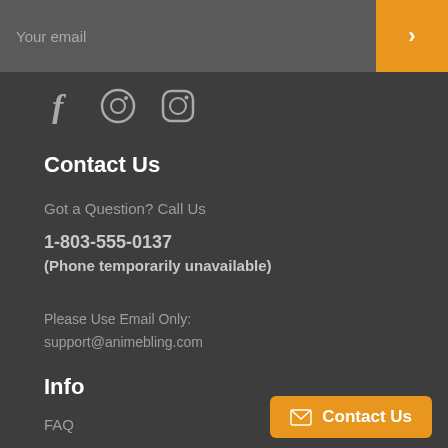[Figure (screenshot): Email input bar with orange submit arrow button on the right]
[Figure (other): Social media icons: Facebook (f), Pinterest (circle P), Instagram (circle camera)]
Contact Us
Got a Question? Call Us
1-803-555-0137
(Phone temporarily unavailable)
Please Use Email Only:
support@animebling.com
Info
FAQ
About Us
Contact Us
[Figure (other): Orange Contact Us button with envelope icon at bottom right]